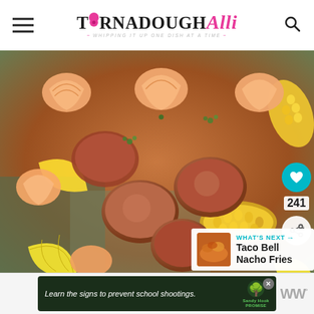Tornadough Alli — Whipping it up one dish at a time
[Figure (photo): A large tray of shrimp boil with sausage, corn on the cob, potatoes, and lemon wedges, garnished with parsley. Social media interaction icons (heart/like = 241, share) visible on the right side. A 'What's Next' panel shows Taco Bell Nacho Fries.]
[Figure (other): Advertisement banner: 'Learn the signs to prevent school shootings.' with Sandy Hook Promise logo and a tree graphic. A WW logo appears on the right.]